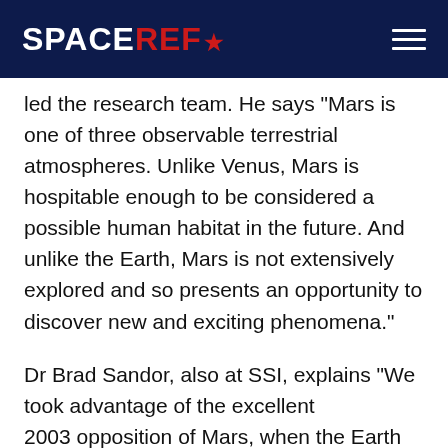SPACEREF*
led the research team. He says "Mars is one of three observable terrestrial atmospheres. Unlike Venus, Mars is hospitable enough to be considered a possible human habitat in the future. And unlike the Earth, Mars is not extensively explored and so presents an opportunity to discover new and exciting phenomena."
Dr Brad Sandor, also at SSI, explains "We took advantage of the excellent 2003 opposition of Mars, when the Earth and